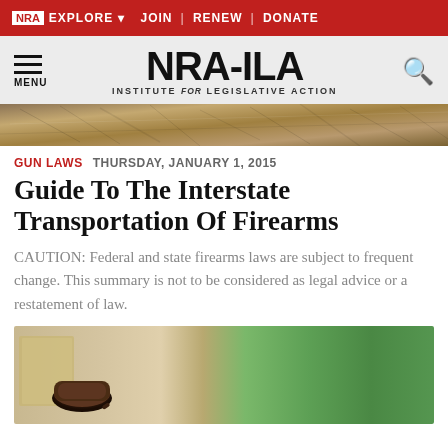NRA EXPLORE ▾   JOIN | RENEW | DONATE
[Figure (logo): NRA-ILA Institute for Legislative Action logo with hamburger menu and search icon]
[Figure (photo): Decorative banner strip with map/parchment texture in brown tones]
GUN LAWS   THURSDAY, JANUARY 1, 2015
Guide To The Interstate Transportation Of Firearms
CAUTION: Federal and state firearms laws are subject to frequent change. This summary is not to be considered as legal advice or a restatement of law.
[Figure (photo): Bottom portion showing a wooden gavel on a green background, partially cropped]